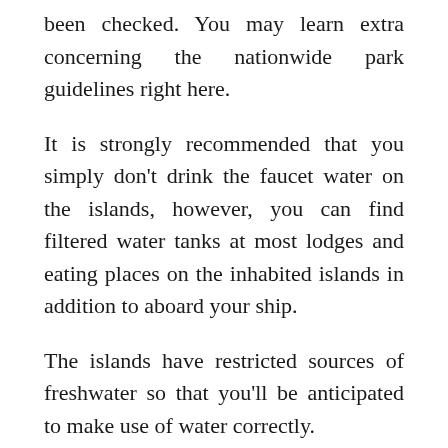been checked. You may learn extra concerning the nationwide park guidelines right here.
It is strongly recommended that you simply don't drink the faucet water on the islands, however, you can find filtered water tanks at most lodges and eating places on the inhabited islands in addition to aboard your ship.
The islands have restricted sources of freshwater so that you'll be anticipated to make use of water correctly.